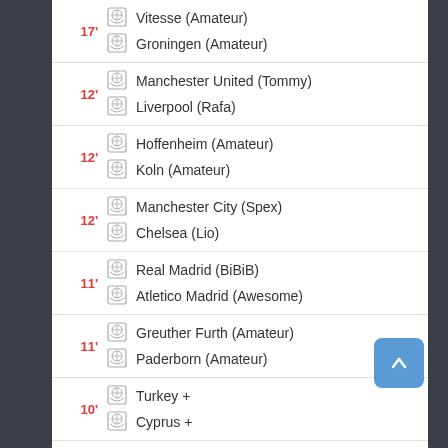17' | Vitesse (Amateur) vs Groningen (Amateur)
12' | Manchester United (Tommy) vs Liverpool (Rafa)
12' | Hoffenheim (Amateur) vs Koln (Amateur)
12' | Manchester City (Spex) vs Chelsea (Lio)
11' | Real Madrid (BiBiB) vs Atletico Madrid (Awesome)
11' | Greuther Furth (Amateur) vs Paderborn (Amateur)
10' | Turkey + vs Cyprus +
10' | Toronto+ vs Sporting+